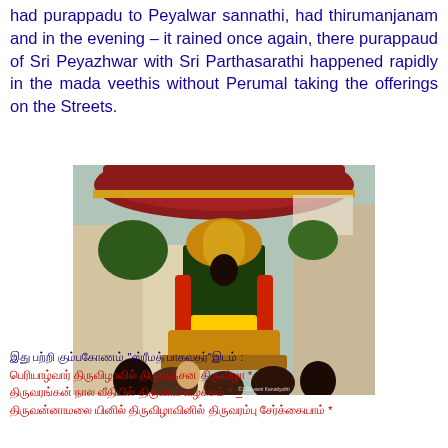Peyalwar in the morning Sri Parthasarathi Swami had purappadu to Peyalwar sannathi, had thirumanjanam and in the evening – it rained once again, there purappaud of Sri Peyazhwar with Sri Parthasarathi happened rapidly in the mada veethis without Perumal taking the offerings on the Streets.
[Figure (photo): Photo of Sri Peyazhwar deity adorned with flowers and ornaments being carried in a procession under a decorative canopy umbrella, surrounded by devotees on a street.]
Tamil text lines with verse content referencing Peyazhwar thirumanjanam
Red Tamil verse lines with asterisk markers